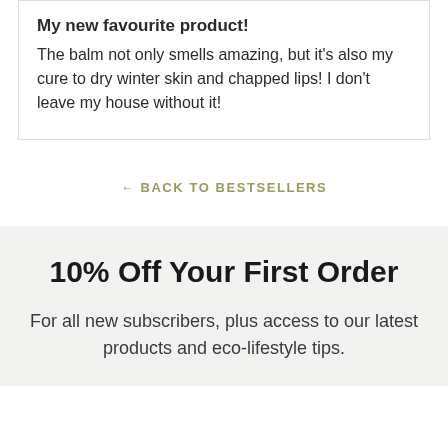My new favourite product!
The balm not only smells amazing, but it's also my cure to dry winter skin and chapped lips! I don't leave my house without it!
← BACK TO BESTSELLERS
10% Off Your First Order
For all new subscribers, plus access to our latest products and eco-lifestyle tips.